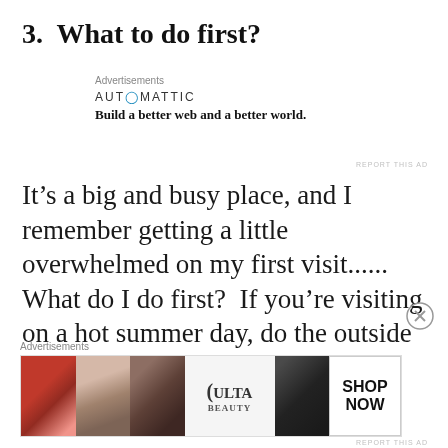3.  What to do first?
[Figure (other): Automattic advertisement block with logo and tagline 'Build a better web and a better world.']
It’s a big and busy place, and I remember getting a little overwhelmed on my first visit...... What do I do first?  If you’re visiting on a hot summer day, do the outside things first!
[Figure (other): Ulta Beauty advertisement banner with cosmetic face images and 'SHOP NOW' call to action]